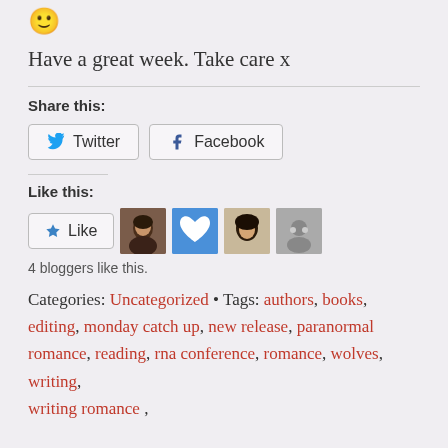[Figure (illustration): Smiley face emoji 🙂]
Have a great week. Take care x
Share this:
[Figure (infographic): Twitter and Facebook share buttons]
Like this:
[Figure (infographic): Like button with 4 blogger avatars]
4 bloggers like this.
Categories: Uncategorized • Tags: authors, books, editing, monday catch up, new release, paranormal romance, reading, rna conference, romance, wolves, writing, writing romance ,